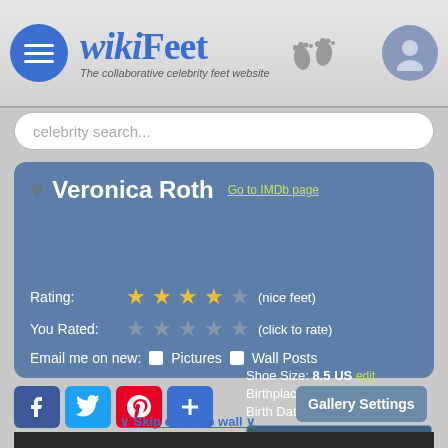wikiFeet - The collaborative celebrity feet website
celebrity search...
Veronica Roth
Go to IMDb page
Shoe Size: 8.5 US edit
Birthplace: United States edit
Birth Date: 1988-08-19 edit
[Figure (bar-chart): Feet rating stats (72 total votes)]
Rating: ★★★★☆ (nice feet)
You Rated: ★★★★☆ (click to rate)
Email me on new: ☐ Pictures ☐ Wall Posts
∨ Skip down to wall ∨
Gallery Settings